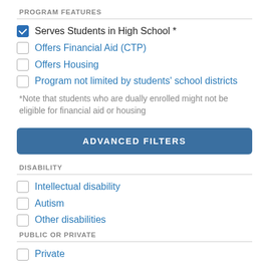PROGRAM FEATURES
Serves Students in High School * [checked]
Offers Financial Aid (CTP)
Offers Housing
Program not limited by students' school districts
*Note that students who are dually enrolled might not be eligible for financial aid or housing
ADVANCED FILTERS
DISABILITY
Intellectual disability
Autism
Other disabilities
PUBLIC OR PRIVATE
Private